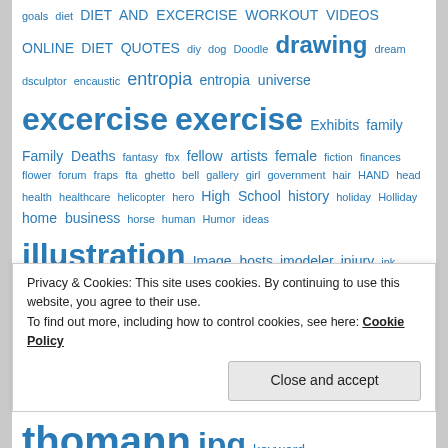goals diet DIET AND EXCERCISE WORKOUT VIDEOS ONLINE DIET QUOTES diy dog Doodle drawing dream dsculptor encaustic entropia entropia universe excercise exercise Exhibits family Family Deaths fantasy fbx fellow artists female fiction finances flower forum fraps fta ghetto bell gallery girl government hair HAND head health healthcare helicopter hero High School history holiday Holliday home business horse human Humor ideas illustration Image hosts imodeler injury ink inspirations interesting reading Introduction jeff jeffthomann jeff thomann jpg keyword
Privacy & Cookies: This site uses cookies. By continuing to use this website, you agree to their use.
To find out more, including how to control cookies, see here: Cookie Policy